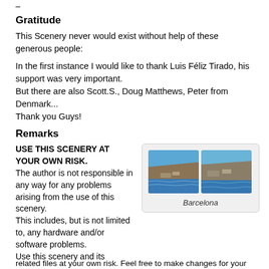–
Gratitude
This Scenery never would exist without help of these generous people:
In the first instance I would like to thank Luis Féliz Tirado, his support was very important.
But there are also Scott.S., Doug Matthews, Peter from Denmark...
Thank you Guys!
Remarks
USE THIS SCENERY AT YOUR OWN RISK.
The author is not responsible in any way for any problems arising from the use of this scenery. This includes, but is not limited to, any hardware and/or software problems. Use this scenery and its related files at your own risk. Feel free to make changes for your
[Figure (photo): Two aerial coastal photographs of Barcelona side by side, showing the coastline and sea.]
Barcelona